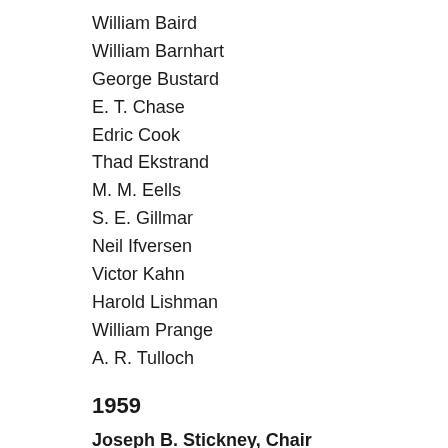William Baird
William Barnhart
George Bustard
E. T. Chase
Edric Cook
Thad Ekstrand
M. M. Eells
S. E. Gillmar
Neil Ifversen
Victor Kahn
Harold Lishman
William Prange
A. R. Tulloch
1959
Joseph B. Stickney, Chair
William Barnhart
George Bustard